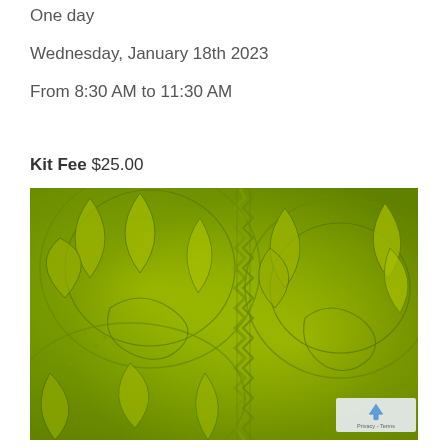One day
Wednesday, January 18th 2023
From 8:30 AM to 11:30 AM
Kit Fee $25.00
[Figure (photo): Close-up photograph of green quilted fabric with intricate swirling leaf and petal patterns in olive/chartreuse green color, showing detailed trapunto or machine quilting texture]